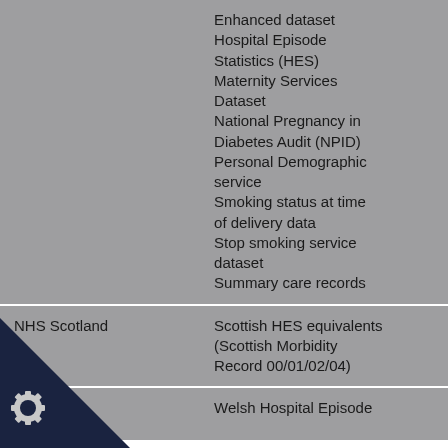| Organisation | Dataset |
| --- | --- |
|  | Enhanced dataset
Hospital Episode Statistics (HES)
Maternity Services Dataset
National Pregnancy in Diabetes Audit (NPID)
Personal Demographic service
Smoking status at time of delivery data
Stop smoking service dataset
Summary care records |
| NHS Scotland | Scottish HES equivalents (Scottish Morbidity Record 00/01/02/04) |
| (Wales) | Welsh Hospital Episode... |